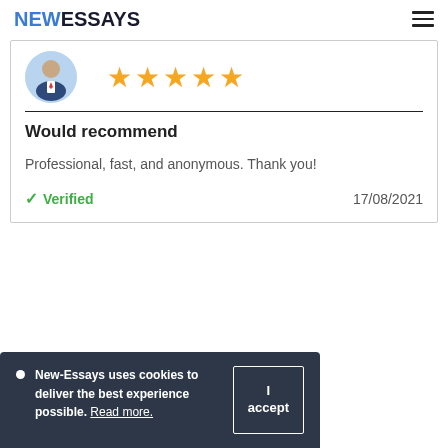NEWESSAYS
[Figure (illustration): Avatar icon of a person in a suit with a blue background circle, and five orange star rating icons to the right]
Would recommend
Professional, fast, and anonymous. Thank you!
✓ Verified   17/08/2021
New-Essays uses cookies to deliver the best experience possible. Read more. I accept